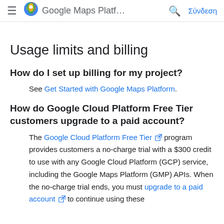≡  Google Maps Platf…  🔍  Σύνδεση
Usage limits and billing
How do I set up billing for my project?
See Get Started with Google Maps Platform.
How do Google Cloud Platform Free Tier customers upgrade to a paid account?
The Google Cloud Platform Free Tier [ext] program provides customers a no-charge trial with a $300 credit to use with any Google Cloud Platform (GCP) service, including the Google Maps Platform (GMP) APIs. When the no-charge trial ends, you must upgrade to a paid account [ext] to continue using these